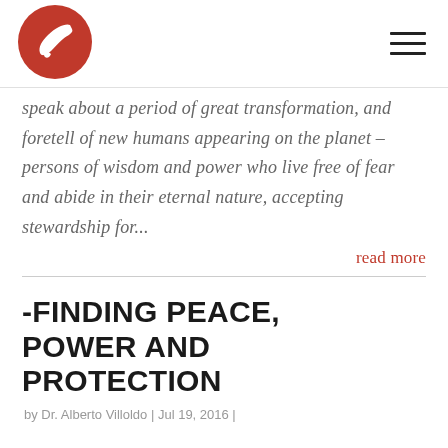[Figure (logo): Red circle logo with a white bird/eagle silhouette]
speak about a period of great transformation, and foretell of new humans appearing on the planet – persons of wisdom and power who live free of fear and abide in their eternal nature, accepting stewardship for...
read more
-FINDING PEACE, POWER AND PROTECTION
by Dr. Alberto Villoldo | Jul 19, 2016 |